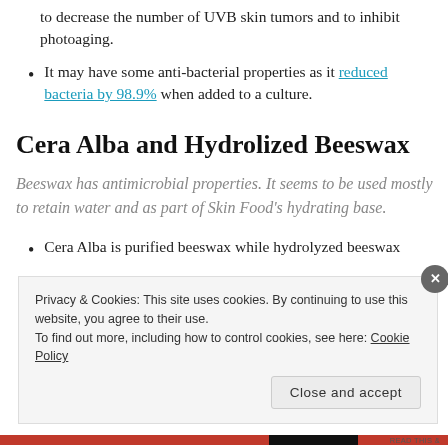to decrease the number of UVB skin tumors and to inhibit photoaging.
It may have some anti-bacterial properties as it reduced bacteria by 98.9% when added to a culture.
Cera Alba and Hydrolized Beeswax
Beeswax has antimicrobial properties. It seems to be used mostly to retain water and as part of Skin Food's hydrating base.
Cera Alba is purified beeswax while hydrolyzed beeswax
Privacy & Cookies: This site uses cookies. By continuing to use this website, you agree to their use. To find out more, including how to control cookies, see here: Cookie Policy